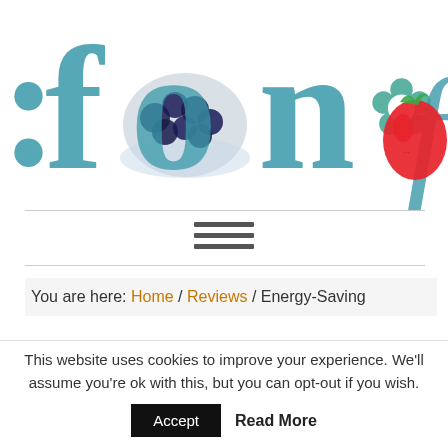[Figure (logo): Website logo with letters made of teal/blue food-themed typography including blueberries and a strawberry, reading 'fun food' or similar]
You are here: Home / Reviews / Energy-Saving
This website uses cookies to improve your experience. We'll assume you're ok with this, but you can opt-out if you wish.
Accept   Read More